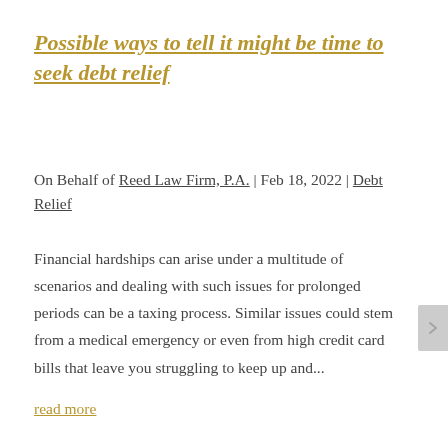Possible ways to tell it might be time to seek debt relief
On Behalf of Reed Law Firm, P.A. | Feb 18, 2022 | Debt Relief
Financial hardships can arise under a multitude of scenarios and dealing with such issues for prolonged periods can be a taxing process. Similar issues could stem from a medical emergency or even from high credit card bills that leave you struggling to keep up and...
read more